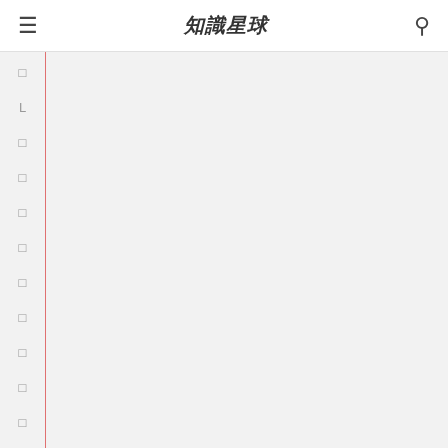知識星球
□ L □ □ □ □ □ □ □ □ □ ) □